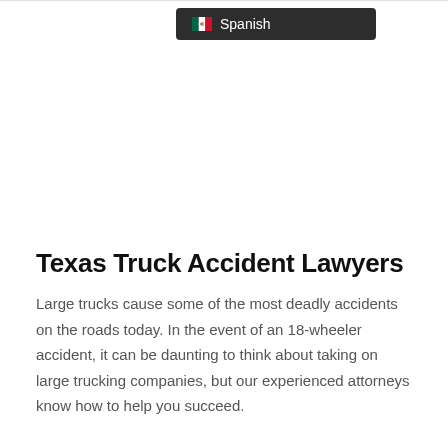[Figure (screenshot): Dropdown menu showing a Mexican flag icon and the word 'Spanish' on a dark background]
Texas Truck Accident Lawyers
Large trucks cause some of the most deadly accidents on the roads today. In the event of an 18-wheeler accident, it can be daunting to think about taking on large trucking companies, but our experienced attorneys know how to help you succeed.